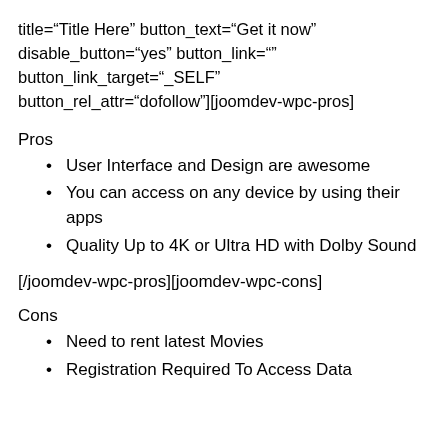title="Title Here" button_text="Get it now" disable_button="yes" button_link="" button_link_target="_SELF" button_rel_attr="dofollow"][joomdev-wpc-pros]
Pros
User Interface and Design are awesome
You can access on any device by using their apps
Quality Up to 4K or Ultra HD with Dolby Sound
[/joomdev-wpc-pros][joomdev-wpc-cons]
Cons
Need to rent latest Movies
Registration Required To Access Data